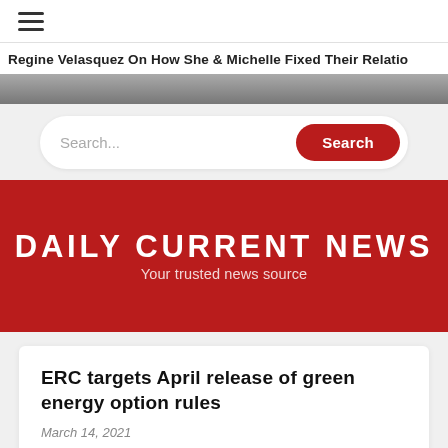☰ (hamburger menu icon)
Regine Velasquez On How She & Michelle Fixed Their Relatio
Search...  Search
DAILY CURRENT NEWS
Your trusted news source
ERC targets April release of green energy option rules
March 14, 2021